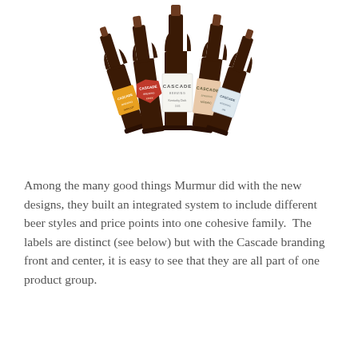[Figure (photo): Five dark brown glass bottles with Cascade Brewing labels arranged in a fan/arc pattern against a white background. The bottles have various label styles — orange, red, white, peach/pink, and light blue — all bearing the Cascade Brewing brand.]
Among the many good things Murmur did with the new designs, they built an integrated system to include different beer styles and price points into one cohesive family.  The labels are distinct (see below) but with the Cascade branding front and center, it is easy to see that they are all part of one product group.